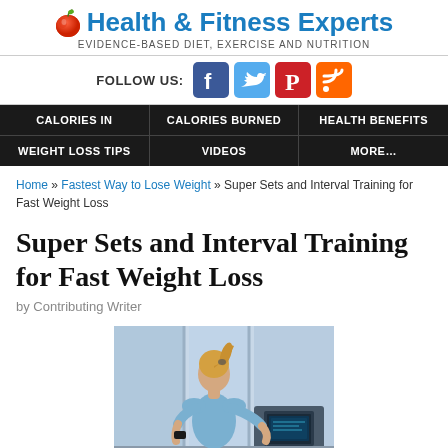Health & Fitness Experts — EVIDENCE-BASED DIET, EXERCISE AND NUTRITION
[Figure (infographic): Social media follow bar with FOLLOW US: text and icons for Facebook, Twitter, Pinterest, and RSS feed]
Navigation bar: CALORIES IN | CALORIES BURNED | HEALTH BENEFITS | WEIGHT LOSS TIPS | VIDEOS | MORE...
Home » Fastest Way to Lose Weight » Super Sets and Interval Training for Fast Weight Loss
Super Sets and Interval Training for Fast Weight Loss
by Contributing Writer
[Figure (photo): Woman in athletic wear with ponytail, viewed from behind, running on a treadmill in a gym with large windows]